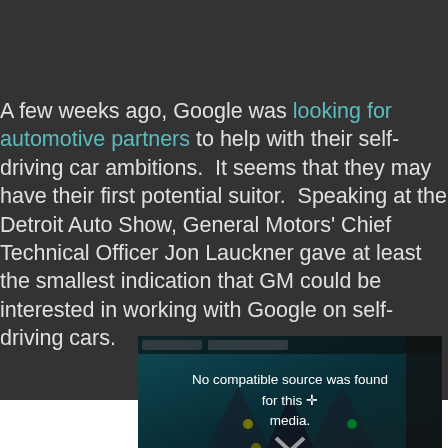A few weeks ago, Google was looking for automotive partners to help with their self-driving car ambitions.  It seems that they may have their first potential suitor.  Speaking at the Detroit Auto Show, General Motors' Chief Technical Officer Jon Lauckner gave at least the smallest indication that GM could be interested in working with Google on self-driving cars.
[Figure (screenshot): Embedded video player showing 'No compatible source was found for this media.' error message over a teal/dark background with road/car imagery.]